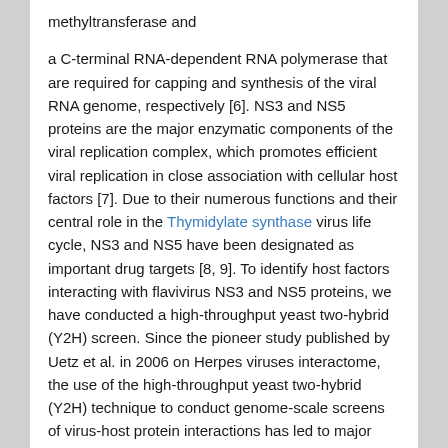methyltransferase and

a C-terminal RNA-dependent RNA polymerase that are required for capping and synthesis of the viral RNA genome, respectively [6]. NS3 and NS5 proteins are the major enzymatic components of the viral replication complex, which promotes efficient viral replication in close association with cellular host factors [7]. Due to their numerous functions and their central role in the Thymidylate synthase virus life cycle, NS3 and NS5 have been designated as important drug targets [8, 9]. To identify host factors interacting with flavivirus NS3 and NS5 proteins, we have conducted a high-throughput yeast two-hybrid (Y2H) screen. Since the pioneer study published by Uetz et al. in 2006 on Herpes viruses interactome, the use of the high-throughput yeast two-hybrid (Y2H) technique to conduct genome-scale screens of virus-host protein interactions has led to major advances in our understanding of viral infections [10–13]. These results from the integrative system biology approaches highlighted the ability of viral proteins to interfere with intracellular pathways...